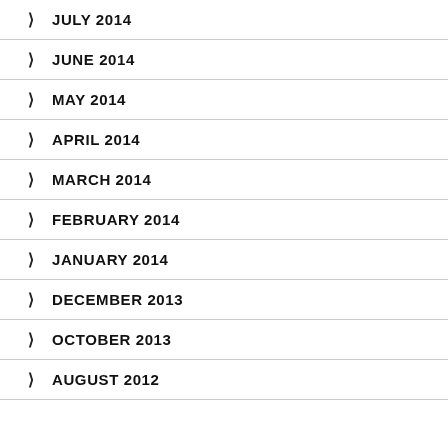JULY 2014
JUNE 2014
MAY 2014
APRIL 2014
MARCH 2014
FEBRUARY 2014
JANUARY 2014
DECEMBER 2013
OCTOBER 2013
AUGUST 2012